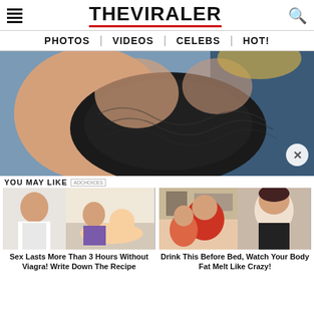THE VIRALER
PHOTOS | VIDEOS | CELEBS | HOT!
[Figure (photo): Close-up photo of a woman wearing a black lace bra/top]
YOU MAY LIKE
[Figure (photo): Collage: doctor photo and illustration of couple; advertisement for sex duration remedy]
Sex Lasts More Than 3 Hours Without Viagra! Write Down The Recipe
[Figure (photo): Before and after style weight loss ad collage with two women photos]
Drink This Before Bed, Watch Your Body Fat Melt Like Crazy!